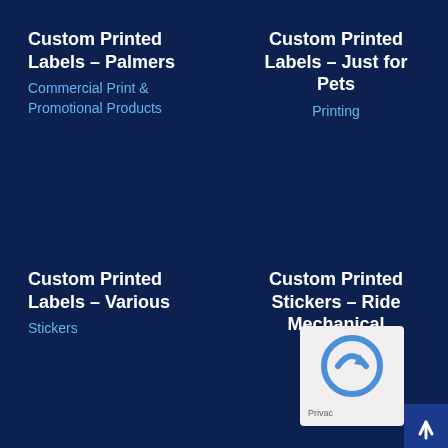Custom Printed Labels – Palmers
Commercial Print & Promotional Products
Custom Printed Labels – Just for Pets
Printing
Custom Printed Labels – Various
Stickers
Custom Printed Stickers – Ride Mechanical
Printing
[Figure (other): reCAPTCHA widget and scroll-to-top button overlay in bottom-right corner]